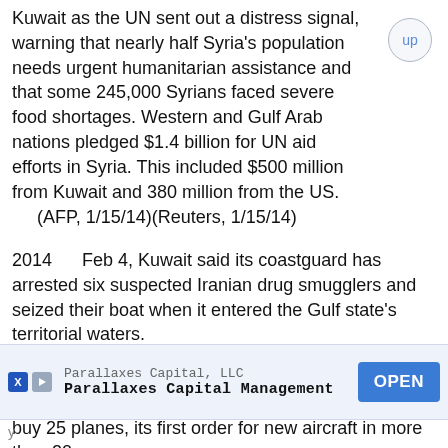Kuwait as the UN sent out a distress signal, warning that nearly half Syria's population needs urgent humanitarian assistance and that some 245,000 Syrians faced severe food shortages. Western and Gulf Arab nations pledged $1.4 billion for UN aid efforts in Syria. This included $500 million from Kuwait and 380 million from the US.
    (AFP, 1/15/14)(Reuters, 1/15/14)
2014      Feb 4, Kuwait said its coastguard has arrested six suspected Iranian drug smugglers and seized their boat when it entered the Gulf state's territorial waters.
    (AFP, 2/4/14)
2014      Feb 19, Kuwait's loss-making state-owned Kuwait Airways Co signed contracts with Airbus to buy 25 planes, its first order for new aircraft in more than 20 years.
    (AFP, 2/19/14)
[Figure (other): Advertisement banner for Parallaxes Capital, LLC - Parallaxes Capital Management with an OPEN button]